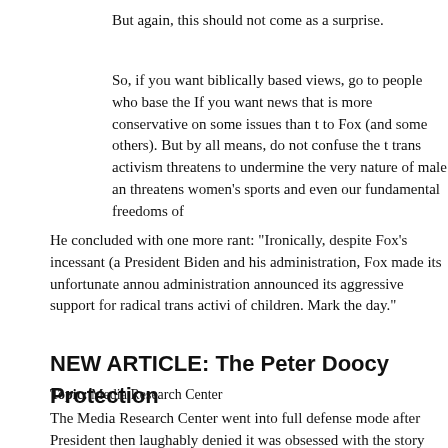But again, this should not come as a surprise.
So, if you want biblically based views, go to people who base the If you want news that is more conservative on some issues than to Fox (and some others). But by all means, do not confuse the t trans activism threatens to undermine the very nature of male an threatens women's sports and even our fundamental freedoms of
He concluded with one more rant: "Ironically, despite Fox's incessant (a President Biden and his administration, Fox made its unfortunate annou administration announced its aggressive support for radical trans activi of children. Mark the day."
NEW ARTICLE: The Peter Doocy Protection
Topic: Media Research Center
The Media Research Center went into full defense mode after President then laughably denied it was obsessed with the story even after generati more >>